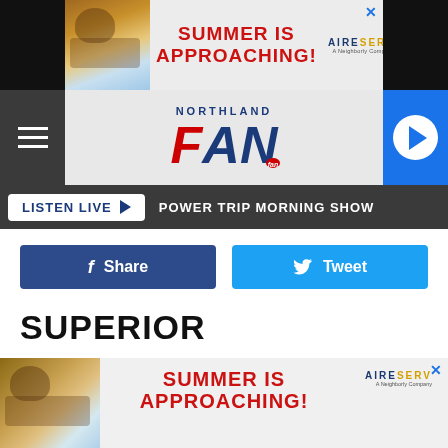[Figure (screenshot): Top advertisement banner: SUMMER IS APPROACHING! with Aire Serv logo and person relaxing in chair image]
[Figure (logo): Northland FAN radio station logo with hamburger menu, logo, and play button navigation bar]
LISTEN LIVE ▶  POWER TRIP MORNING SHOW
[Figure (screenshot): Facebook Share button (dark blue) and Twitter Tweet button (light blue)]
SUPERIOR
[Figure (screenshot): Bottom advertisement banner: SUMMER IS APPROACHING! with Aire Serv logo and person relaxing in chair image]